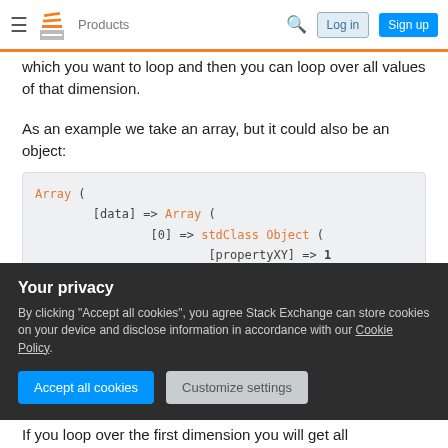≡  [Stack Overflow logo]  Products  🔍  Log in  Sign up
which you want to loop and then you can loop over all values of that dimension.
As an example we take an array, but it could also be an object:
Array (
    [data] => Array (
            [0] => stdClass Object (
                    [propertyXY] => 1
                )
            [1] => stdClass Object (
                    [propertyXY] => 2
Your privacy
By clicking "Accept all cookies", you agree Stack Exchange can store cookies on your device and disclose information in accordance with our Cookie Policy.
If you loop over the first dimension you will get all